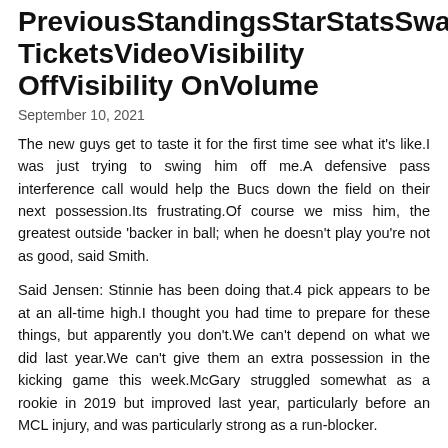PreviousStandingsStarStatsSwapTeamsTicketsVideoVisibility OffVisibility OnVolume
September 10, 2021
The new guys get to taste it for the first time see what it's like.I was just trying to swing him off me.A defensive pass interference call would help the Bucs down the field on their next possession.Its frustrating.Of course we miss him, the greatest outside 'backer in ball; when he doesn't play you're not as good, said Smith.
Said Jensen: Stinnie has been doing that.4 pick appears to be at an all-time high.I thought you had time to prepare for these things, but apparently you don't.We can't depend on what we did last year.We can't give them an extra possession in the kicking game this week.McGary struggled somewhat as a rookie in 2019 but improved last year, particularly before an MCL injury, and was particularly strong as a run-blocker.
Miller: And that matched his personality.While conditions continue to change daily, the health and well-being of all